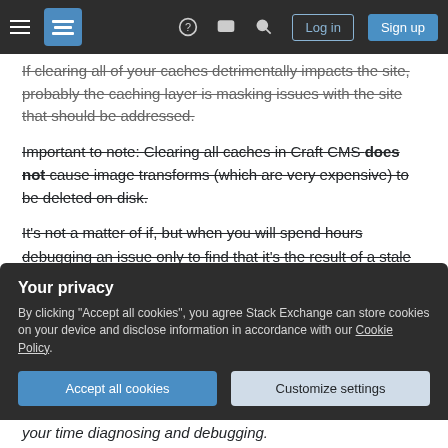Stack Exchange navigation header with hamburger menu, logo, help, chat, search, Log in, Sign up buttons
If clearing all of your caches detrimentally impacts the site, probably the caching layer is masking issues with the site that should be addressed.
Important to note: Clearing all caches in Craft CMS does not cause image transforms (which are very expensive) to be deleted on disk.
It's not a matter of if, but when you will spend hours debugging an issue only to find that it's the result of a stale cache. Or conversely, being notified in the middle of the night that there is an issue with the
Your privacy
By clicking "Accept all cookies", you agree Stack Exchange can store cookies on your device and disclose information in accordance with our Cookie Policy.
Accept all cookies    Customize settings
your time diagnosing and debugging.